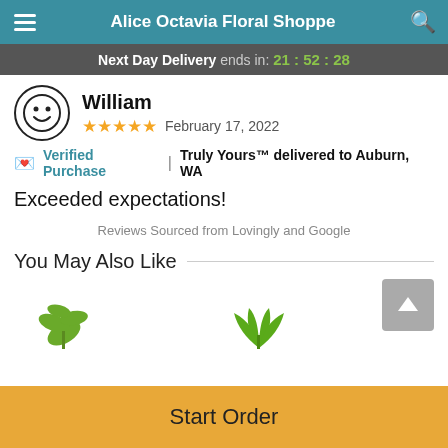Alice Octavia Floral Shoppe
Next Day Delivery ends in: 21 : 52 : 28
William
★★★★★  February 17, 2022
🏷 Verified Purchase  |  Truly Yours™ delivered to Auburn, WA
Exceeded expectations!
Reviews Sourced from Lovingly and Google
You May Also Like
[Figure (illustration): Two partial plant illustrations at the bottom of the screen]
Start Order